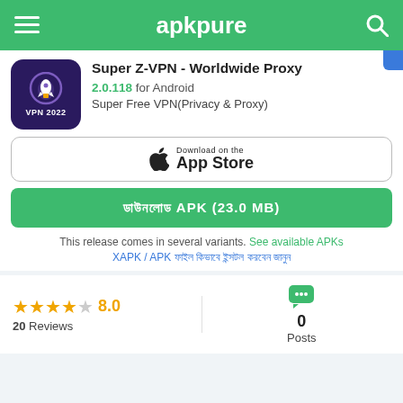apkpure
Super Z-VPN - Worldwide Proxy
2.0.118 for Android
Super Free VPN(Privacy & Proxy)
[Figure (screenshot): Download on the App Store button]
ডাউনলোড APK (23.0 MB)
This release comes in several variants. See available APKs
XAPK / APK ফাইল কিভাবে ইন্সটল করবেন জানুন
8.0
20 Reviews
0 Posts
Use APKPure APP
Get the latest update of Super Z-VPN - Worldwide Proxy on Android